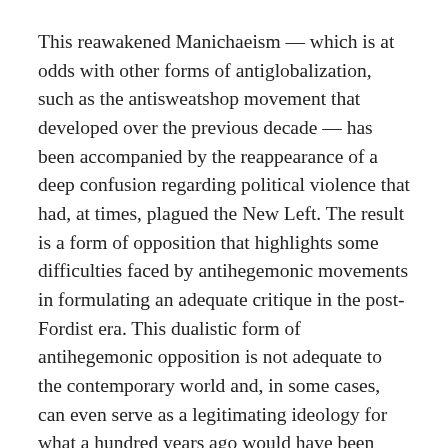This reawakened Manichaeism — which is at odds with other forms of antiglobalization, such as the antisweatshop movement that developed over the previous decade — has been accompanied by the reappearance of a deep confusion regarding political violence that had, at times, plagued the New Left. The result is a form of opposition that highlights some difficulties faced by antihegemonic movements in formulating an adequate critique in the post-Fordist era. This dualistic form of antihegemonic opposition is not adequate to the contemporary world and, in some cases, can even serve as a legitimating ideology for what a hundred years ago would have been termed imperialist rivalries.
Let me elaborate by first turning briefly to the ways in which many liberals and progressives responded to the